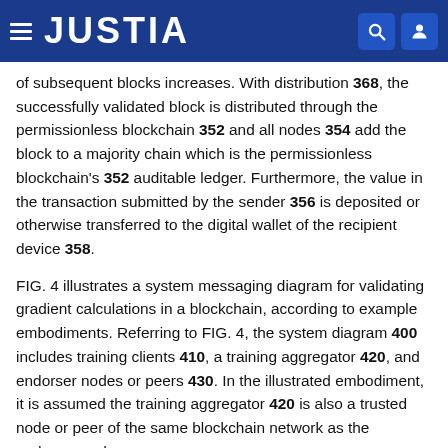JUSTIA
of subsequent blocks increases. With distribution 368, the successfully validated block is distributed through the permissionless blockchain 352 and all nodes 354 add the block to a majority chain which is the permissionless blockchain's 352 auditable ledger. Furthermore, the value in the transaction submitted by the sender 356 is deposited or otherwise transferred to the digital wallet of the recipient device 358.
FIG. 4 illustrates a system messaging diagram for validating gradient calculations in a blockchain, according to example embodiments. Referring to FIG. 4, the system diagram 400 includes training clients 410, a training aggregator 420, and endorser nodes or peers 430. In the illustrated embodiment, it is assumed the training aggregator 420 is also a trusted node or peer of the same blockchain network as the endorser nodes or peers 430. However, in other embodiments, the training...